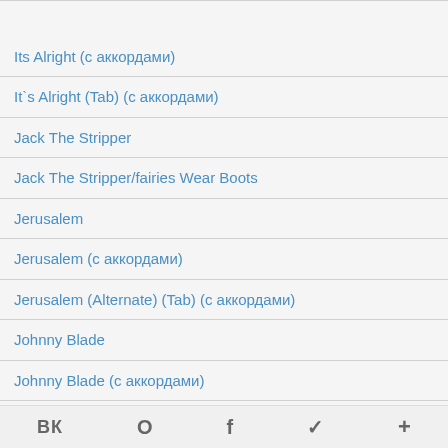Its Alright (с аккордами)
It`s Alright (Tab) (с аккордами)
Jack The Stripper
Jack The Stripper/fairies Wear Boots
Jerusalem
Jerusalem (с аккордами)
Jerusalem (Alternate) (Tab) (с аккордами)
Johnny Blade
Johnny Blade (с аккордами)
Johnny Blade (Tab) (с аккордами)
Junior's Eyes
ВК  О  f  ✓  +